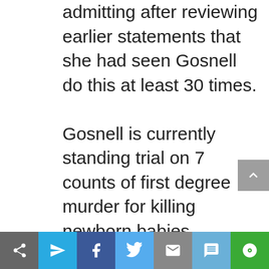admitting after reviewing earlier statements that she had seen Gosnell do this at least 30 times. Gosnell is currently standing trial on 7 counts of first degree murder for killing newborn babies delivered during abortions. Gosnell has also been charged with one count of third degree murder for the overdose death of his abortion patient, Karnamaya Mongar. If convicted, Gosnell could face the death penalty.
[Figure (infographic): Social sharing toolbar at bottom with icons: share (arrow), send (paper plane), Facebook (f), Twitter (bird), email (envelope), SMS (speech bubble with 'sms'), and a camera/screenshot icon. Also a scroll-to-top arrow button on the right side.]